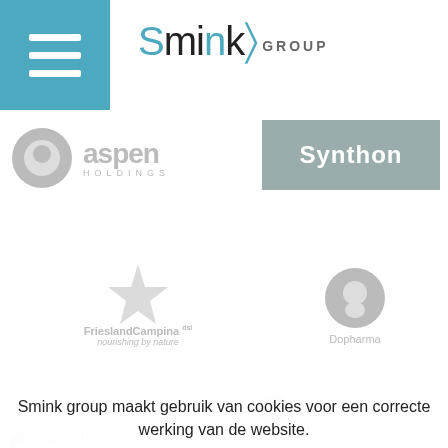Smink GROUP
[Figure (logo): Aspen Holdings logo in grey]
[Figure (logo): Synthon logo, grey rectangle with white text]
[Figure (logo): FrieslandCampina logo with star and tagline 'nourishing by nature']
[Figure (logo): Dopharma logo with grey circular icon]
[Figure (logo): Janssen logo partial (behind overlay)]
[Figure (logo): MSD logo partial (behind overlay)]
[Figure (logo): Sanquin logo partial (behind overlay)]
Smink group maakt gebruik van cookies voor een correcte werking van de website.
Akkoord